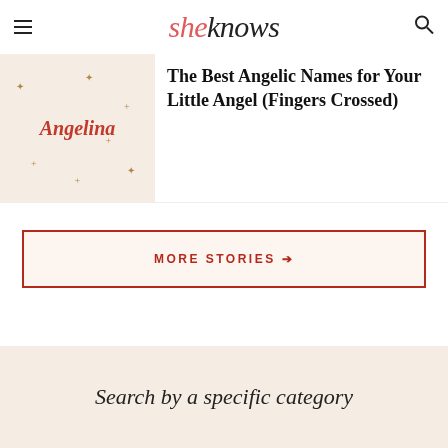sheknows
[Figure (illustration): Thumbnail image with cream background showing the name 'Angelina' in red italic text with decorative sparkle star symbols]
The Best Angelic Names for Your Little Angel (Fingers Crossed)
MORE STORIES →
Search by a specific category